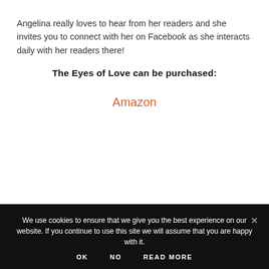Angelina really loves to hear from her readers and she invites you to connect with her on Facebook as she interacts daily with her readers there!
The Eyes of Love can be purchased:
Amazon
We use cookies to ensure that we give you the best experience on our website. If you continue to use this site we will assume that you are happy with it.
OK  NO  READ MORE